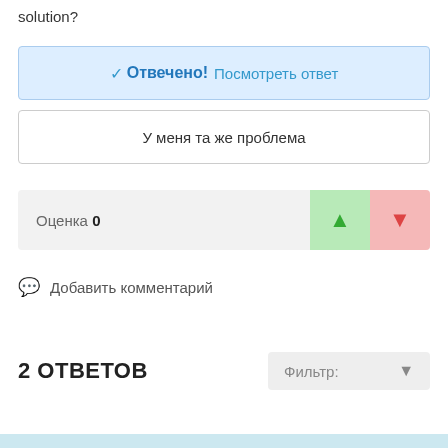solution?
✓ Отвечено!  Посмотреть ответ
У меня та же проблема
Оценка 0
Добавить комментарий
2 ОТВЕТОВ
Фильтр: